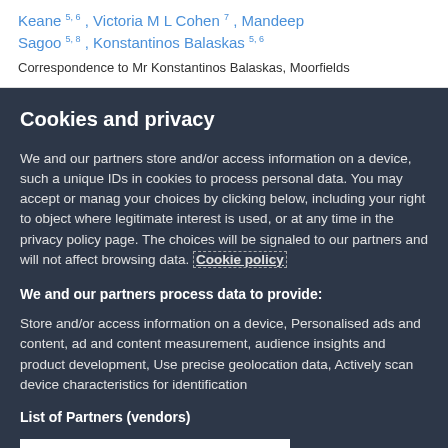Keane 5, 6, Victoria M L Cohen 7, Mandeep Sagoo 5, 8, Konstantinos Balaskas 5, 6
Correspondence to Mr Konstantinos Balaskas, Moorfields
Cookies and privacy
We and our partners store and/or access information on a device, such a unique IDs in cookies to process personal data. You may accept or manage your choices by clicking below, including your right to object where legitimate interest is used, or at any time in the privacy policy page. These choices will be signaled to our partners and will not affect browsing data. Cookie policy
We and our partners process data to provide:
Store and/or access information on a device, Personalised ads and content, ad and content measurement, audience insights and product development, Use precise geolocation data, Actively scan device characteristics for identification
List of Partners (vendors)
I Accept